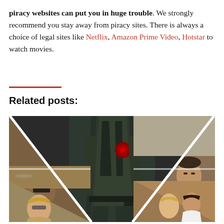piracy websites can put you in huge trouble. We strongly recommend you stay away from piracy sites. There is always a choice of legal sites like Netflix, Amazon Prime Video, Hotstar to watch movies.
[Figure (photo): Collage movie poster image showing a soldier in tactical gear from behind with a red-circle patch, surrounded by four smaller diagonal panels showing various characters from what appears to be a war/action film.]